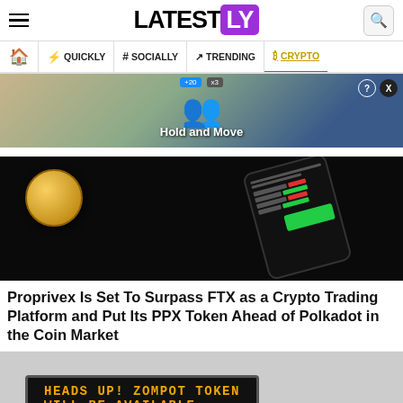LATESTLY
QUICKLY | # SOCIALLY | TRENDING | CRYPTO
[Figure (photo): Advertisement banner with game characters and 'Hold and Move' text]
[Figure (photo): Dark background with a cryptocurrency trading app on a smartphone and a gold coin]
Proprivex Is Set To Surpass FTX as a Crypto Trading Platform and Put Its PPX Token Ahead of Polkadot in the Coin Market
[Figure (photo): Digital ticker board showing 'HEADS UP! ZOMPOT TOKEN WILL BE AVAILABLE']